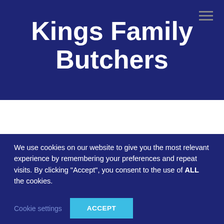Kings Family Butchers
We use cookies on our website to give you the most relevant experience by remembering your preferences and repeat visits. By clicking “Accept”, you consent to the use of ALL the cookies.
Cookie settings | ACCEPT